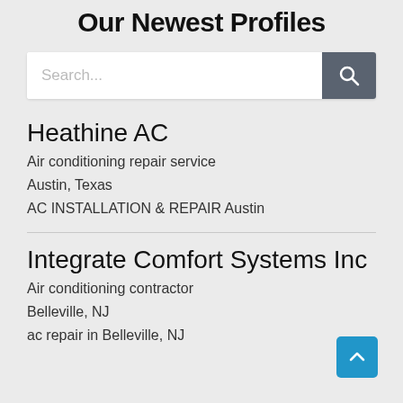Our Newest Profiles
[Figure (screenshot): Search bar with text input placeholder 'Search...' and a dark gray search button with magnifier icon]
Heathine AC
Air conditioning repair service
Austin, Texas
AC INSTALLATION & REPAIR Austin
Integrate Comfort Systems Inc
Air conditioning contractor
Belleville, NJ
ac repair in Belleville, NJ